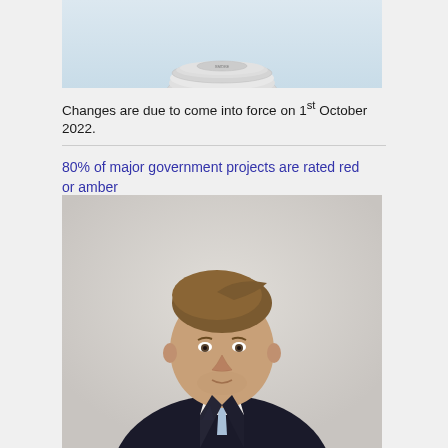[Figure (photo): Partial view of a smoke detector device, showing the top circular portion against a light blue/white background]
Changes are due to come into force on 1st October 2022.
80% of major government projects are rated red or amber
[Figure (photo): Professional headshot of a man in a dark suit with a light blue tie, smiling slightly, against a light grey background]